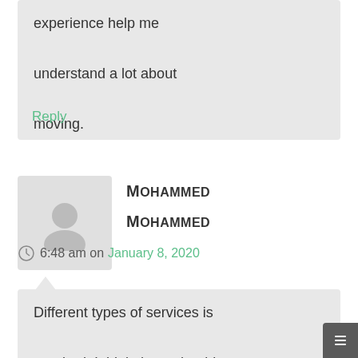experience help me understand a lot about moving.
Reply
Mohammed Mohammed
6:48 am on January 8, 2020
Different types of services is required. I think there should